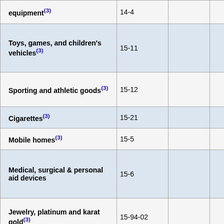| Item | Code | Base | Col1 | Col2 |
| --- | --- | --- | --- | --- |
| equipment(3) | 14-4 |  | 202.1 | 202.4 |
| Toys, games, and children's vehicles(3) | 15-11 |  | 157.6 | 157.8 |
| Sporting and athletic goods(3) | 15-12 |  | 138.0 | 138.1 |
| Cigarettes(3) | 15-21 |  | 1,043.7 | 1,041.7 |
| Mobile homes(3) | 15-5 |  | 293.5 | 303.3 |
| Medical, surgical & personal aid devices | 15-6 |  | 180.2 | 180.6 |
| Jewelry, platinum and karat gold(3) | 15-94-02 |  | 229.3 | 225.5 |
| Costume jewelry and novelties(3) | 15-94-04 |  | 187.7 | 187.6 |
| Final demand services |  | 11/09 | 116.0 | 116.6 |
| Final demand trade services(4) |  | 11/09 | 116.5 | 116.8 |